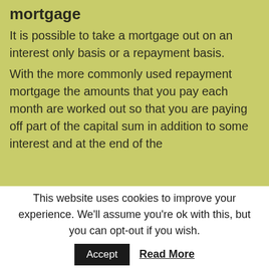mortgage
It is possible to take a mortgage out on an interest only basis or a repayment basis.
With the more commonly used repayment mortgage the amounts that you pay each month are worked out so that you are paying off part of the capital sum in addition to some interest and at the end of the
This website uses cookies to improve your experience. We'll assume you're ok with this, but you can opt-out if you wish.
Accept
Read More